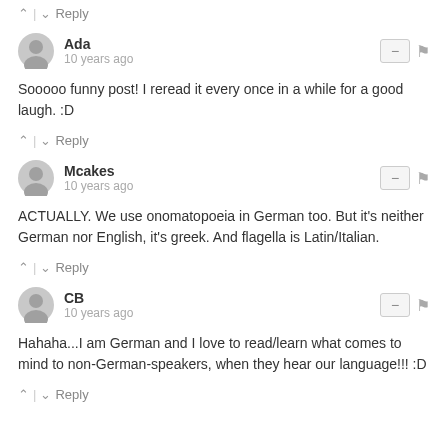^ | v Reply
Ada
10 years ago
Sooooo funny post! I reread it every once in a while for a good laugh. :D
^ | v Reply
Mcakes
10 years ago
ACTUALLY. We use onomatopoeia in German too. But it's neither German nor English, it's greek. And flagella is Latin/Italian.
^ | v Reply
CB
10 years ago
Hahaha...I am German and I love to read/learn what comes to mind to non-German-speakers, when they hear our language!!! :D
^ | v Reply